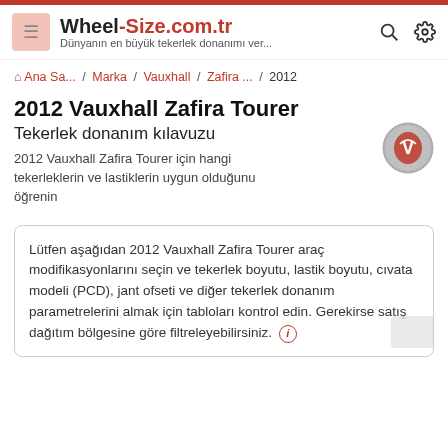Wheel-Size.com.tr — Dünyanın en büyük tekerlek donanımı ver...
Ana Sa... / Marka / Vauxhall / Zafira ... / 2012
2012 Vauxhall Zafira Tourer
Tekerlek donanım kılavuzu
2012 Vauxhall Zafira Tourer için hangi tekerleklerin ve lastiklerin uygun olduğunu öğrenin
Lütfen aşağıdan 2012 Vauxhall Zafira Tourer araç modifikasyonlarını seçin ve tekerlek boyutu, lastik boyutu, cıvata modeli (PCD), jant ofseti ve diğer tekerlek donanım parametrelerini almak için tabloları kontrol edin. Gerekirse satış dağıtım bölgesine göre filtreleyebilirsiniz. ⓘ